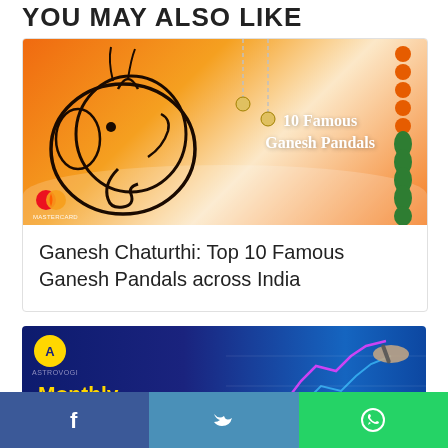YOU MAY ALSO LIKE
[Figure (illustration): Ganesh Chaturthi themed banner image with orange background, stylized Ganesha face illustration on left, text '10 Famous Ganesh Pandals' on right, marigold decorations on right edge, Mastercard logo bottom left]
Ganesh Chaturthi: Top 10 Famous Ganesh Pandals across India
[Figure (illustration): Monthly Share Market Predictions banner with dark blue background, yellow 'Monthly' text, white bold 'Share Market Predictions' text, stock market chart graphic on right, Astrovogi logo top left]
[Figure (infographic): Social share bar at bottom with Facebook (blue), Twitter (light blue), WhatsApp (green) buttons with respective icons]